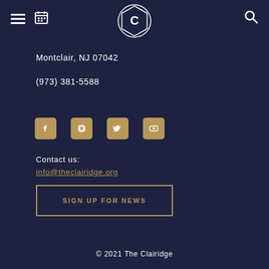[Figure (logo): The Clairidge logo: a stylized C inside a geometric hexagonal circle, white lines on dark navy background]
Montclair, NJ 07042
(973) 381-5588
[Figure (infographic): Social media icons: Facebook, Instagram, Twitter, YouTube — all in gold/tan color on rounded square backgrounds]
Contact us:
info@theclairidge.org
SIGN UP FOR NEWS
© 2021 The Clairidge